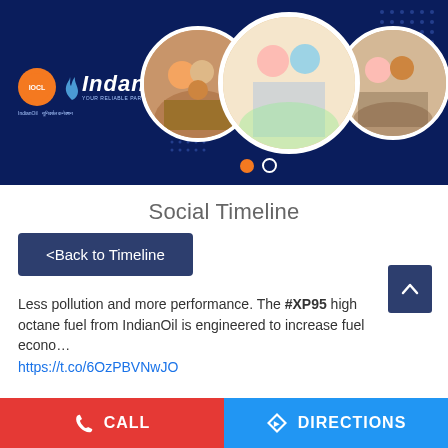[Figure (photo): Indane (IndianOil) promotional banner with dark navy background, Indane logo on the left, three circular photos of families/couples cooking in the kitchen, decorative dot patterns, and carousel indicator dots at the bottom.]
Social Timeline
<Back to Timeline
Less pollution and more performance. The #XP95 high octane fuel from IndianOil is engineered to increase fuel econo…
https://t.co/6OzPBVNwJO
CALL
DIRECTIONS